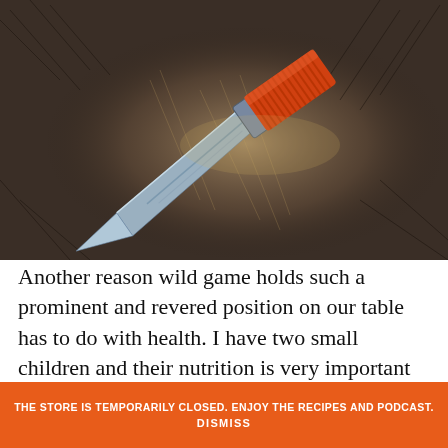[Figure (photo): A knife with an orange paracord-wrapped handle resting on dark animal fur with light shining on it]
Another reason wild game holds such a prominent and revered position on our table has to do with health. I have two small children and their nutrition is very important to me. I know that I'm raising them on the highest protein, lowest fat
THE STORE IS TEMPORARILY CLOSED. ENJOY THE RECIPES AND PODCAST.
DISMISS